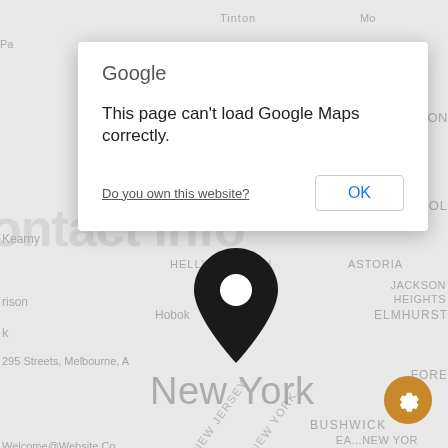[Figure (screenshot): Google Maps background showing New York area with a location pin dropped. Map labels visible include Manhattan, Hell's Kitchen, Astoria, Jackson Heights, Elmhurst, Hoboken, Secaucus, New Jersey, Brooklyn, Park Slope, Bushwick, Bayonne, Sunset Park, and a large 'New York' label. A dark map pin is centered on the map. Overlaid text from website includes 'Contact Info', '295 Streets, Melbourne, A...', 'Welcome@Website.Co...', '+66396847263'. A golden gear/settings button is in the bottom right.]
[Figure (screenshot): Google Maps error dialog box reading: 'Google' header, 'This page can't load Google Maps correctly.' message, 'Do you own this website?' link, and an 'OK' button.]
Google
This page can't load Google Maps correctly.
Do you own this website?
OK